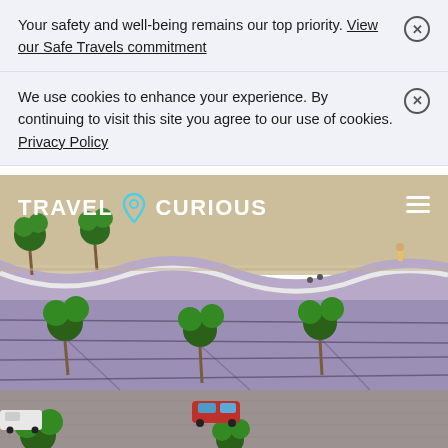Your safety and well-being remains our top priority. View our Safe Travels commitment
We use cookies to enhance your experience. By continuing to visit this site you agree to our use of cookies. Privacy Policy
[Figure (photo): Aerial view of a beach with palm trees, a coastal road with cars, and a sandy shoreline with waves. The Travel Curious logo and hamburger menu are overlaid on the top-left and top-right of the image.]